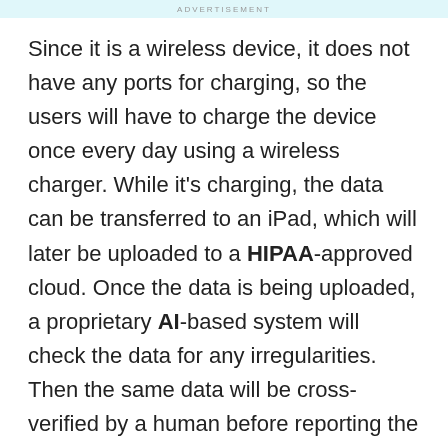ADVERTISEMENT
Since it is a wireless device, it does not have any ports for charging, so the users will have to charge the device once every day using a wireless charger. While it's charging, the data can be transferred to an iPad, which will later be uploaded to a HIPAA-approved cloud. Once the data is being uploaded, a proprietary AI-based system will check the data for any irregularities. Then the same data will be cross-verified by a human before reporting the data to the hospital. The device will supervise the users 24/7 and will give data based on it using which the disease can be confirmed.